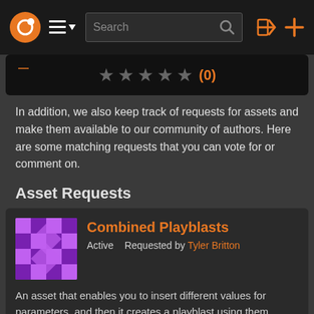Search
[Figure (screenshot): Rating widget showing 5 empty stars and (0) in orange]
In addition, we also keep track of requests for assets and make them available to our community of authors. Here are some matching requests that you can vote for or comment on.
Asset Requests
Combined Playblasts
Active   Requested by Tyler Britton
An asset that enables you to insert different values for parameters, and then it creates a playblast using them, which is